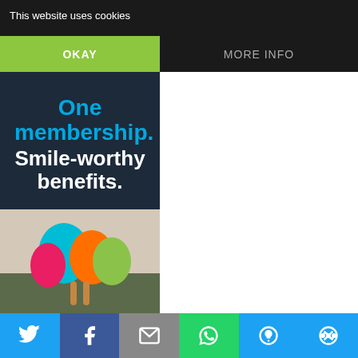This website uses cookies
OKAY
MORE INFO
[Figure (screenshot): Amazon Prime advertisement banner with dark navy background. Text reads: 'One membership. Smile-worthy benefits. Give the gift of Prime ›' with blue and white typography.]
[Figure (photo): Photo of a person holding colorful balloons outdoors.]
[Figure (infographic): Social sharing bar with Twitter, Facebook, Email, WhatsApp, SMS, and more icons.]